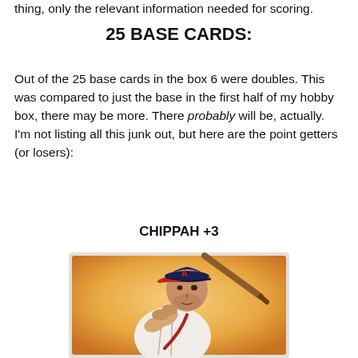thing, only the relevant information needed for scoring.
25 BASE CARDS:
Out of the 25 base cards in the box 6 were doubles. This was compared to just the base in the first half of my hobby box, there may be more. There probably will be, actually. I'm not listing all this junk out, but here are the point getters (or losers):
CHIPPAH +3
[Figure (illustration): Illustrated baseball card showing a player in an Atlanta Braves uniform holding a bat, wearing a navy cap with the Braves 'A' logo, with a warm orange/yellow painterly background.]